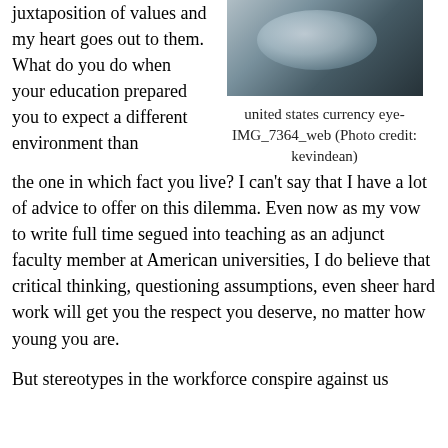juxtaposition of values and my heart goes out to them. What do you do when your education prepared you to expect a different environment than the one in which fact you live? I can't say that I have a lot of advice to offer on this dilemma. Even now as my vow to write full time segued into teaching as an adjunct faculty member at American universities, I do believe that critical thinking, questioning assumptions, even sheer hard work will get you the respect you deserve, no matter how young you are.
[Figure (photo): Close-up macro photograph of an eye with detailed texture, dark and blue-grey tones]
united states currency eye-IMG_7364_web (Photo credit: kevindean)
But stereotypes in the workforce conspire against us